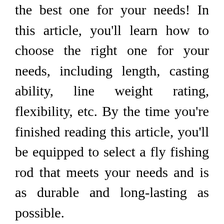the best one for your needs! In this article, you'll learn how to choose the right one for your needs, including length, casting ability, line weight rating, flexibility, etc. By the time you're finished reading this article, you'll be equipped to select a fly fishing rod that meets your needs and is as durable and long-lasting as possible.
Length
When choosing a fly fishing